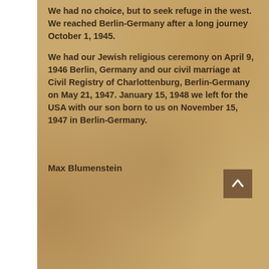We had no choice, but to seek refuge in the west.  We reached Berlin-Germany after a long journey October 1, 1945.
We had our Jewish religious ceremony on April 9, 1946 Berlin, Germany and our civil marriage at Civil Registry of Charlottenburg, Berlin-Germany on May 21, 1947. January 15, 1948 we left for the USA with our son born to us on November 15, 1947 in Berlin-Germany.
Max Blumenstein